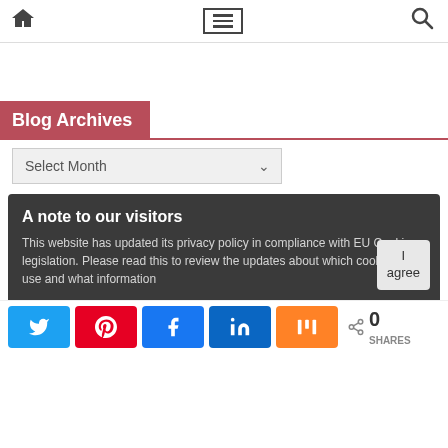Home | Menu | Search
Blog Archives
Select Month
A note to our visitors
This website has updated its privacy policy in compliance with EU Cookie legislation. Please read this to review the updates about which cookies we use and what information
0 SHARES